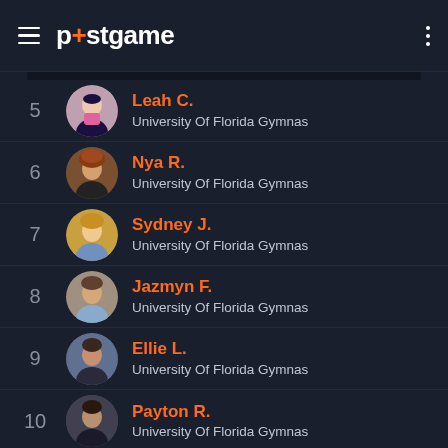postgame
5 Leah C. — University Of Florida Gymnas
6 Nya R. — University Of Florida Gymnas
7 Sydney J. — University Of Florida Gymnas
8 Jazmyn F. — University Of Florida Gymnas
9 Ellie L. — University Of Florida Gymnas
10 Payton R. — University Of Florida Gymnas